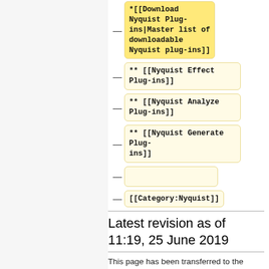*[[Download Nyquist Plug-ins|Master list of downloadable Nyquist plug-ins]]
** [[Nyquist Effect Plug-ins]]
** [[Nyquist Analyze Plug-ins]]
** [[Nyquist Generate Plug-ins]]
[[Category:Nyquist]]
Latest revision as of 11:19, 25 June 2019
This page has been transferred to the Audacity Manual.